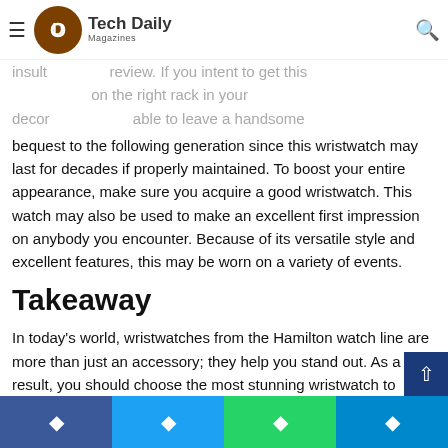Tech Daily Magazines
insult ... more review. If you intent to get this ... on the right rack in your decor ... able to leave a handsome bequest to the following generation since this wristwatch may last for decades if properly maintained. To boost your entire appearance, make sure you acquire a good wristwatch. This watch may also be used to make an excellent first impression on anybody you encounter. Because of its versatile style and excellent features, this may be worn on a variety of events.
Takeaway
In today's world, wristwatches from the Hamilton watch line are more than just an accessory; they help you stand out. As a result, you should choose the most stunning wristwatch to boost your confidence, as a wristwatch may be an excellent tool for helping you become more recognized and trustworthy.
Facebook  Twitter  WhatsApp  Telegram